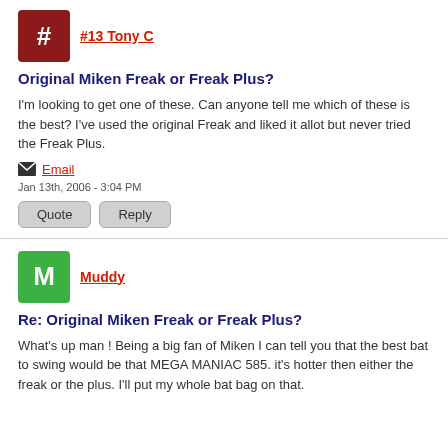#13 Tony C
Original Miken Freak or Freak Plus?
I'm looking to get one of these. Can anyone tell me which of these is the best? I've used the original Freak and liked it allot but never tried the Freak Plus.
Email
Jan 13th, 2006 - 3:04 PM
Quote  Reply
Muddy
Re: Original Miken Freak or Freak Plus?
What's up man ! Being a big fan of Miken I can tell you that the best bat to swing would be that MEGA MANIAC 585. it's hotter then either the freak or the plus. I'll put my whole bat bag on that.